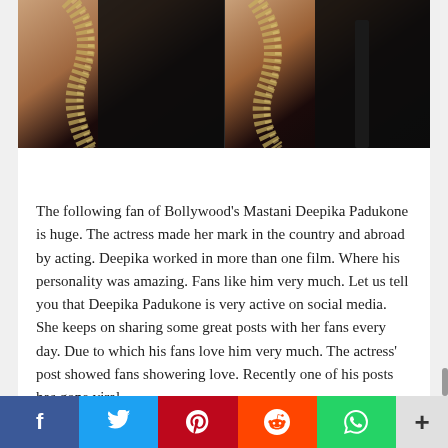[Figure (photo): Two side-by-side close-up photos of a woman wearing a dark black sequined/beaded outfit with plunging neckline, showing sequin trim detail along the neckline edges]
The following fan of Bollywood's Mastani Deepika Padukone is huge. The actress made her mark in the country and abroad by acting. Deepika worked in more than one film. Where his personality was amazing. Fans like him very much. Let us tell you that Deepika Padukone is very active on social media. She keeps on sharing some great posts with her fans every day. Due to which his fans love him very much. The actress' post showed fans showering love. Recently one of his posts has gone viral.